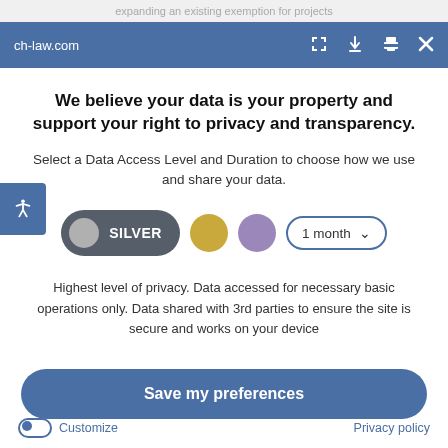expanding an existing exemption for projects
ch-law.com
We believe your data is your property and support your right to privacy and transparency.
Select a Data Access Level and Duration to choose how we use and share your data.
[Figure (infographic): Silver, Gold, Purple tier selection buttons and 1 month dropdown]
Highest level of privacy. Data accessed for necessary basic operations only. Data shared with 3rd parties to ensure the site is secure and works on your device
Save my preferences
Customize
Privacy policy